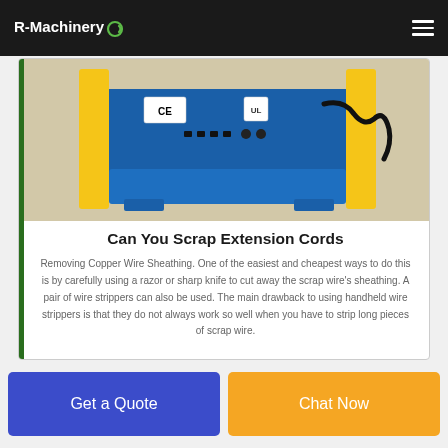R-Machinery
[Figure (photo): Yellow and blue wire stripping machine with CE marking label, power cord visible on right side, photographed from above/front angle]
Can You Scrap Extension Cords
Removing Copper Wire Sheathing. One of the easiest and cheapest ways to do this is by carefully using a razor or sharp knife to cut away the scrap wire's sheathing. A pair of wire strippers can also be used. The main drawback to using handheld wire strippers is that they do not always work so well when you have to strip long pieces of scrap wire.
Get a Quote
Chat Now